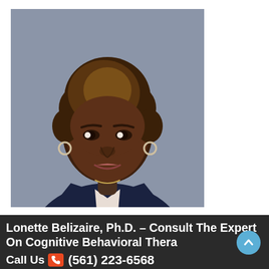[Figure (photo): Professional headshot of Lonette Belizaire, Ph.D. — a woman wearing a navy blazer over a light blouse with a gold necklace and hoop earrings, smiling, against a grey background.]
Lonette Belizaire, Ph.D. – Consult The Expert On Cognitive Behavioral Therapy (CBT) And Self-Care
Call Us  (561) 223-6568